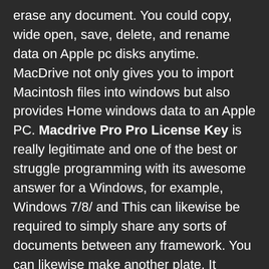erase any document. You could copy, wide open, save, delete, and rename data on Apple pc disks anytime. MacDrive not only gives you to import Macintosh files into windows but also provides Home windows data to an Apple PC. Macdrive Pro Pro License Key is really legitimate and one of the best or struggle programming with its awesome answer for a Windows, for example, Windows 7/8/ and This can likewise be required to simply share any sorts of documents between any framework. You can likewise make another plate. It additionally permits to make any sort of circle. Presently this TipuCrack has been given its new and most recent form. This is stunning programming that permits you open, alter and spare documents from Mac-designed plates effectively and copy Mac CDs and ukimmigrationattorneyflorida.us MacDrive Standard is a computer program, designed for free for